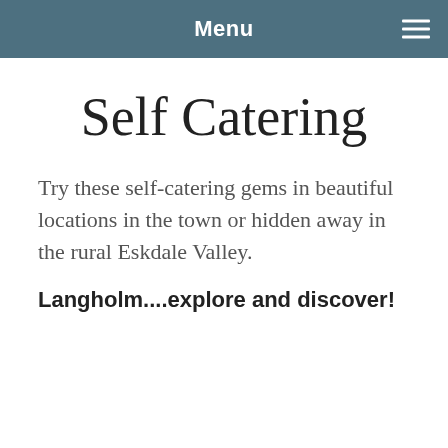Menu
Self Catering
Try these self-catering gems in beautiful locations in the town or hidden away in the rural Eskdale Valley.
Langholm....explore and discover!